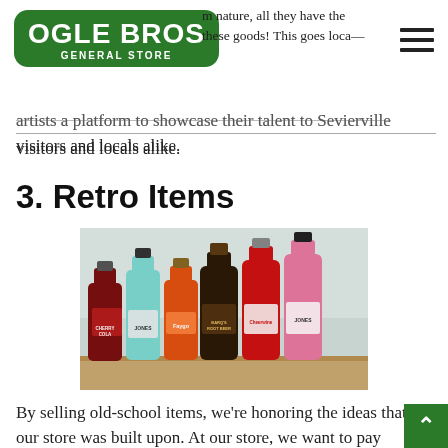Ogle Bros General Store
artists a platform to showcase their talent to Sevierville visitors and locals alike.
3. Retro Items
[Figure (photo): Multiple retro glass soda bottles lined up including Cherry Cola, Jones, Faygo, Barq's Root Beer, Cheerwine, and Jones sodas in various colors on a wooden surface.]
By selling old-school items, we're honoring the ideas that our store was built upon. At our store, we want to pay